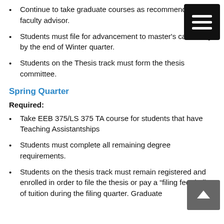Continue to take graduate courses as recommended by faculty advisor.
Students must file for advancement to master's candidacy by the end of Winter quarter.
Students on the Thesis track must form the thesis committee.
Spring Quarter
Required:
Take EEB 375/LS 375 TA course for students that have Teaching Assistantships
Students must complete all remaining degree requirements.
Students on the thesis track must remain registered and enrolled in order to file the thesis or pay a “filing fee” in lieu of tuition during the filing quarter. Graduate